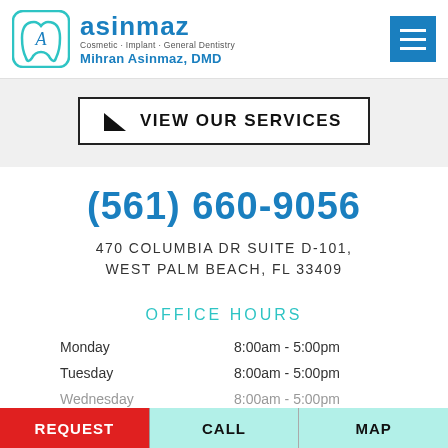[Figure (logo): Asinmaz Cosmetic Implant General Dentistry logo with tooth icon and text 'Mihran Asinmaz, DMD']
VIEW OUR SERVICES
(561) 660-9056
470 COLUMBIA DR SUITE D-101, WEST PALM BEACH, FL 33409
OFFICE HOURS
| Day | Hours |
| --- | --- |
| Monday | 8:00am - 5:00pm |
| Tuesday | 8:00am - 5:00pm |
| Wednesday | 8:00am - 5:00pm |
REQUEST   CALL   MAP